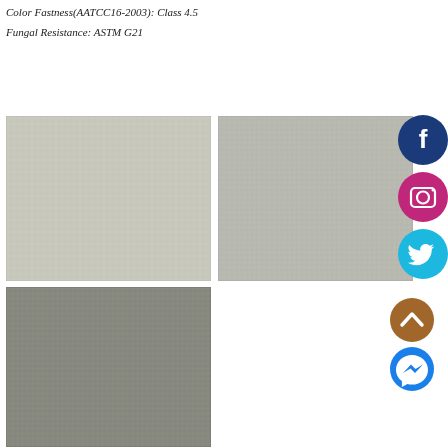Color Fastness(AATCC16-2003): Class 4.5
Fungal Resistance: ASTM G21
[Figure (photo): Close-up texture of light grey fabric/mesh material, top-left sample]
[Figure (photo): Close-up texture of light grey fabric/mesh material, top-right sample]
[Figure (photo): Close-up texture of dark grey fabric/mesh material, bottom-left sample]
[Figure (illustration): Facebook social media icon - dark blue circle with white F]
[Figure (illustration): Instagram social media icon - pink/magenta circle with white camera]
[Figure (illustration): Twitter social media icon - cyan/blue circle with white bird]
[Figure (illustration): Scroll-to-top icon - brown circle with white chevron up]
[Figure (illustration): Facebook Messenger icon - blue circle with white lightning bolt/chat]